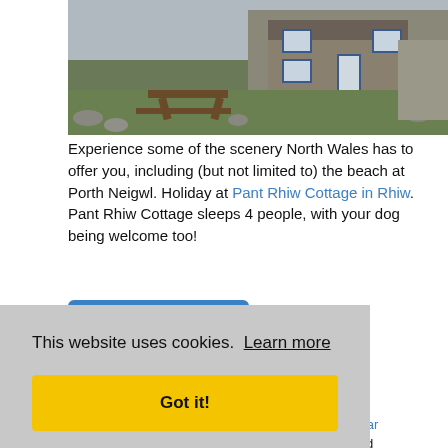[Figure (photo): Photo of a stone cottage (Pant Rhiw Cottage) with a wooden picnic table on a grassy area, stone walls in the background, blue-trimmed windows and door.]
Experience some of the scenery North Wales has to offer you, including (but not limited to) the beach at Porth Neigwl. Holiday at Pant Rhiw Cottage in Rhiw. Pant Rhiw Cottage sleeps 4 people, with your dog being welcome too!
Pant Rhiw Cottage
Stubblefield Terrace Cottage
This website uses cookies.  Learn more
Got it!
orth, es near he Old k countryside